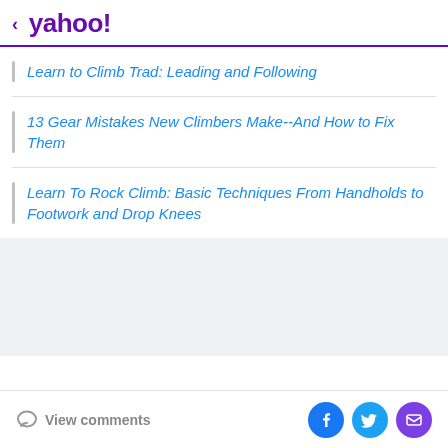< yahoo!
Learn to Climb Trad: Leading and Following
13 Gear Mistakes New Climbers Make--And How to Fix Them
Learn To Rock Climb: Basic Techniques From Handholds to Footwork and Drop Knees
View comments